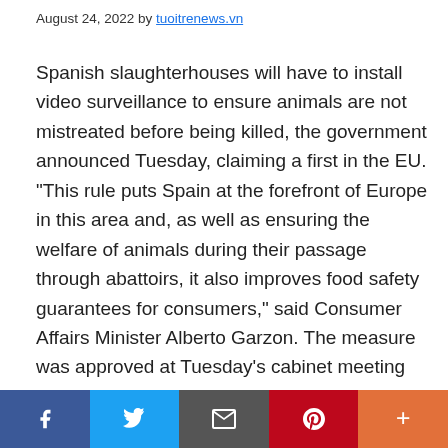August 24, 2022 by tuoitrenews.vn
Spanish slaughterhouses will have to install video surveillance to ensure animals are not mistreated before being killed, the government announced Tuesday, claiming a first in the EU. "This rule puts Spain at the forefront of Europe in this area and, as well as ensuring the welfare of animals during their passage through abattoirs, it also improves food safety guarantees for consumers," said Consumer Affairs Minister Alberto Garzon. The measure was approved at Tuesday's cabinet meeting and will now be pushed quickly through parliament for
Social share bar: Facebook, Twitter, Email, Pinterest, More